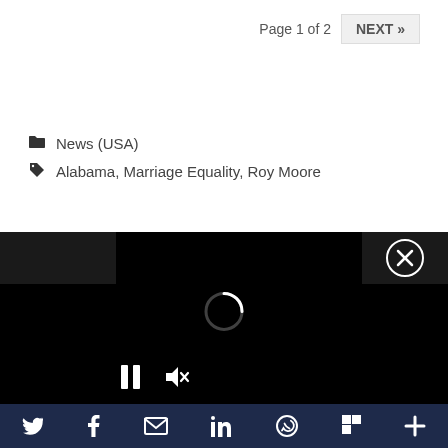Page 1 of 2  NEXT »
News (USA)
Alabama, Marriage Equality, Roy Moore
[Figure (screenshot): Embedded video player with dark background, loading spinner, pause and mute controls, and close (X) button in top right corner.]
[Figure (infographic): Social sharing bar with icons for Twitter, Facebook, Email, LinkedIn, WhatsApp, Flipboard, and a plus/more button on a dark navy background.]